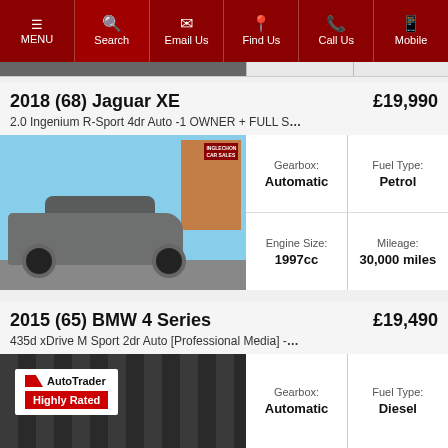MENU | Search | Email Us | Find Us | Call Us | Mobile
2018 (68) Jaguar XE — £19,990
2.0 Ingenium R-Sport 4dr Auto -1 OWNER + FULL S...
[Figure (photo): Photo of a grey 2018 Jaguar XE parked in front of a car dealership]
| Gearbox | Fuel Type | Engine Size | Mileage |
| --- | --- | --- | --- |
| Automatic | Petrol | 1997cc | 30,000 miles |
2015 (65) BMW 4 Series — £19,490
435d xDrive M Sport 2dr Auto [Professional Media] -...
[Figure (photo): Photo of a BMW 4 Series with AutoTrader Highly Rated badge overlay]
| Gearbox | Fuel Type |
| --- | --- |
| Automatic | Diesel |